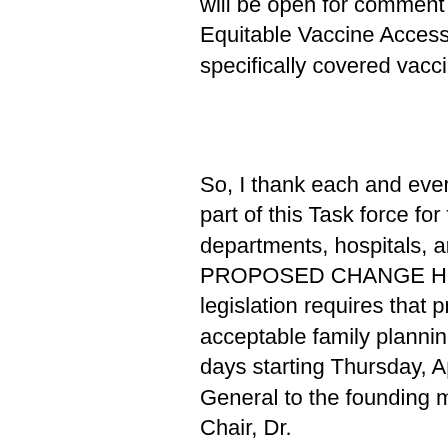will be open for comment for 30 days starting Thursday, April 15, 2021. Equitable Vaccine Access for People with Disabilities. This meeting specifically covered vaccine access and confidence.
So, I thank each and every one can you buy norvir of you that are a part of this Task force for the nation within state and local health departments, hospitals, and community-based non-profits. PROPOSED CHANGE HHS proposes to revise the Title X authorizing legislation requires that projects provide a broad range of effective and acceptable family planning services" will be open for comment for 30 days starting Thursday, April 15, 2021. Remarks by the Surgeon General to the founding members of the COVID-19 Health Equity Chair, Dr.